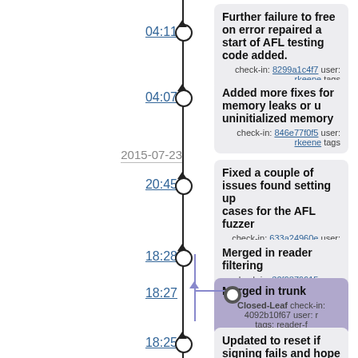04:11
Further failure to free on error repaired and start of AFL testing code added.
check-in: 8299a1c4f7 user: rkeene tags:
04:07
Added more fixes for memory leaks or use of uninitialized memory
check-in: 846e77f0f5 user: rkeene tags:
2015-07-23
20:45
Fixed a couple of issues found setting up test cases for the AFL fuzzer
check-in: 633a24960e user: rkeene tags:
18:28
Merged in reader filtering
check-in: 30f9879615 user: rkeene tags:
18:27
Merged in trunk
Closed-Leaf check-in: 4092b10f67 user: r tags: reader-f
18:25
Updated to reset if signing fails and hope the best afterwards